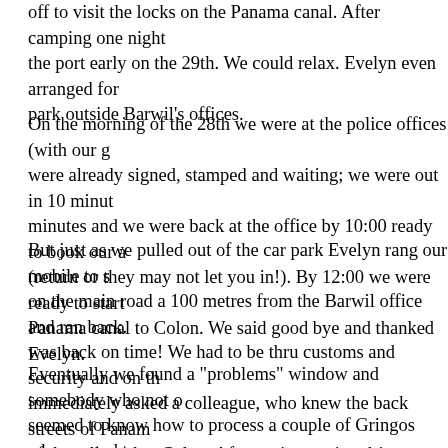off to visit the locks on the Panama canal. After camping one night the port early on the 29th. We could relax. Evelyn even arranged for park outside Barwil's offices.
On the morning of the 28th we were at the police offices (with our g were already signed, stamped and waiting; we were out in 10 minute minutes and we were back at the office by 10:00 ready to book our a (return or they may not let you in!). By 12:00 we were ready to start Panama canal to Colon. We said good bye and thanked Evelyn.
But just as we pulled out of the car park Evelyn rang our mobile to s on the main road a 100 metres from the Barwil office and ran back. was back on time! We had to be thru customs and security and on th immediately asked a colleague, who knew the back streets of Panam of the toll road to Colon. After an interesting drive, we stopped just papers and computers into our overnight bags, stripped the valuables everything we could, gave away all our perishable food to a startled incomprehensible dock gates. Dozens of small windows each with s thru the well rehearsed process of getting their containers into the po
Eventually we found a "problems" window and somebody who not o seemed to know how to process a couple of Gringos who wanted to a RoRo (thank you operative number 2025!). After a last minute ver empty many cupboards and boxes) we finally left K-Nine and Mog a tractors and bulldozers also en-route to Colombia.